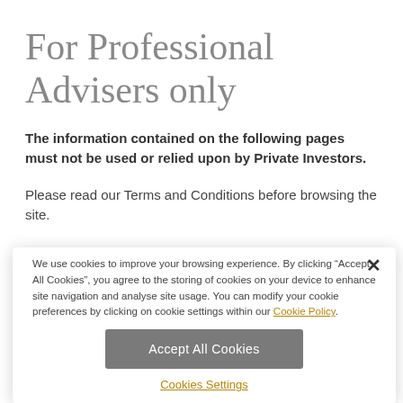For Professional Advisers only
The information contained on the following pages must not be used or relied upon by Private Investors.
Please read our Terms and Conditions before browsing the site.
We use cookies to improve your browsing experience. By clicking “Accept All Cookies”, you agree to the storing of cookies on your device to enhance site navigation and analyse site usage. You can modify your cookie preferences by clicking on cookie settings within our Cookie Policy.
Accept All Cookies
Cookies Settings